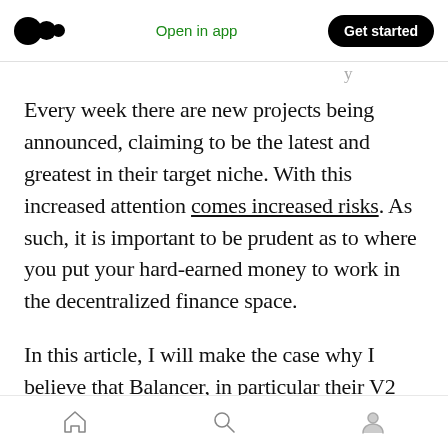Open in app | Get started
Every week there are new projects being announced, claiming to be the latest and greatest in their target niche. With this increased attention comes increased risks. As such, it is important to be prudent as to where you put your hard-earned money to work in the decentralized finance space.
In this article, I will make the case why I believe that Balancer, in particular their V2 version, will likely turn out to be the next big thing in DeFi due
Home | Search | Profile